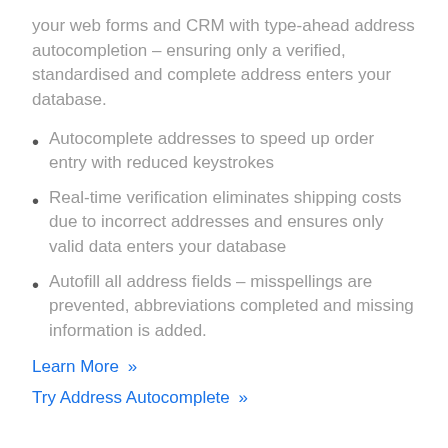your web forms and CRM with type-ahead address autocompletion – ensuring only a verified, standardised and complete address enters your database.
Autocomplete addresses to speed up order entry with reduced keystrokes
Real-time verification eliminates shipping costs due to incorrect addresses and ensures only valid data enters your database
Autofill all address fields – misspellings are prevented, abbreviations completed and missing information is added.
Learn More »
Try Address Autocomplete »